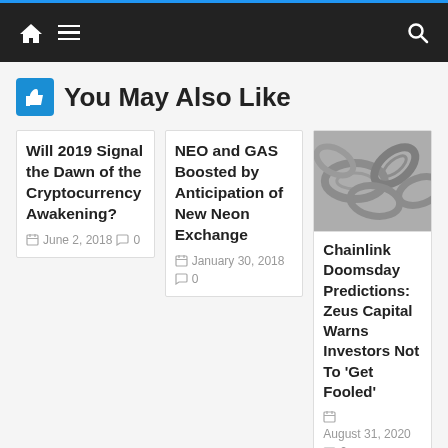Navigation bar with home, menu, and search icons
You May Also Like
Will 2019 Signal the Dawn of the Cryptocurrency Awakening?
June 2, 2018  0
NEO and GAS Boosted by Anticipation of New Neon Exchange
January 30, 2018  0
[Figure (photo): Close-up photo of metal chain links in black and white]
Chainlink Doomsday Predictions: Zeus Capital Warns Investors Not To ‘Get Fooled’
August 31, 2020  0